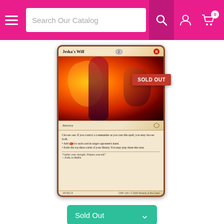Search Our Catalog
[Figure (photo): Magic: The Gathering card 'Jeska's Will' from Commander Legends set, showing a red Sorcery card with fiery artwork. Has a SOLD OUT badge overlay.]
Sold Out
Jeska's Will [Commander Legends]
$24.90